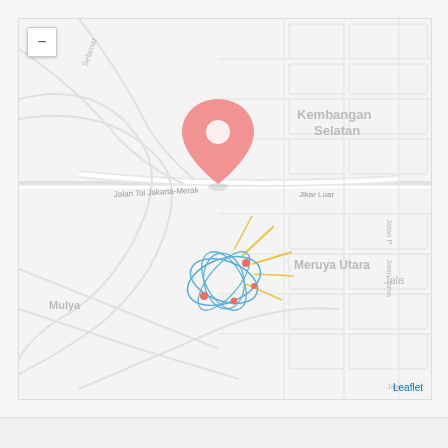[Figure (map): Street map showing an area in Jakarta, Indonesia, including neighborhoods Kembangan Selatan, Meruya Utara, and Mulya. A pink location pin marker is placed near Kembangan Selatan. Below the pin is an atom/orbital-style icon with blue elliptical orbits and small red dots, with yellow starburst lines radiating outward. Roads visible include Jalan Tol Jakarta-Merak and Jalan Tama. A zoom control (minus button) is in the upper left. A 'Leaflet' attribution link is in the lower right.]